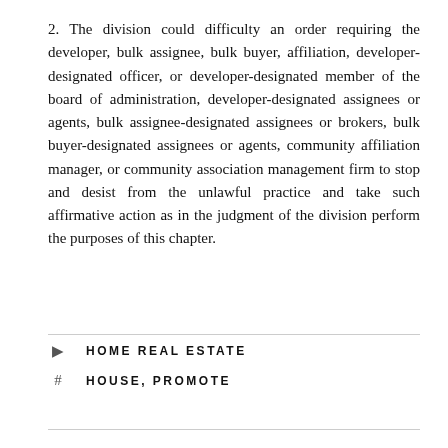2. The division could difficulty an order requiring the developer, bulk assignee, bulk buyer, affiliation, developer-designated officer, or developer-designated member of the board of administration, developer-designated assignees or agents, bulk assignee-designated assignees or brokers, bulk buyer-designated assignees or agents, community affiliation manager, or community association management firm to stop and desist from the unlawful practice and take such affirmative action as in the judgment of the division perform the purposes of this chapter.
HOME REAL ESTATE
HOUSE, PROMOTE